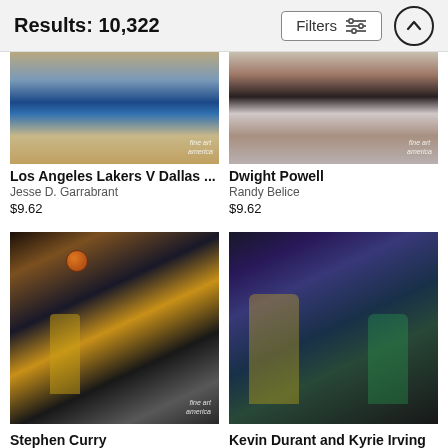Results: 10,322
[Figure (screenshot): Filters button with sliders icon and scroll-up button]
[Figure (photo): Los Angeles Lakers V Dallas basketball game photo with watermark fine art america]
Los Angeles Lakers V Dallas ...
Jesse D. Garrabrant
$9.62
[Figure (photo): Dwight Powell basketball photo with watermark fine art america]
Dwight Powell
Randy Belice
$9.62
[Figure (photo): Stephen Curry shooting basketball photo with watermark fine art]
Stephen Curry
Nathaniel S. Butler
$9.62
[Figure (photo): Kevin Durant and Kyrie Irving basketball photo]
Kevin Durant and Kyrie Irving
Noah Graham
$9.62